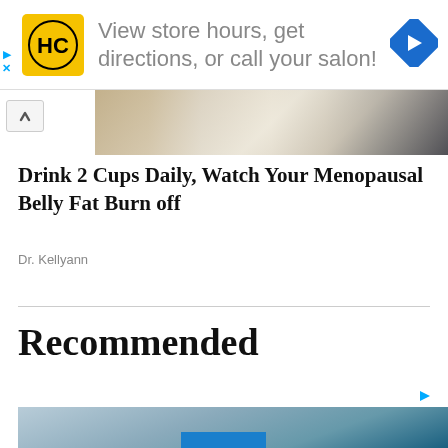[Figure (screenshot): Advertisement banner with HC (Hair Club) logo, text 'View store hours, get directions, or call your salon!', and a blue navigation arrow icon]
[Figure (photo): Partial photo of an interior room with white cabinets/shelves]
Drink 2 Cups Daily, Watch Your Menopausal Belly Fat Burn off
Dr. Kellyann
Recommended
[Figure (photo): Bottom advertisement image with blue/gray gradient background and a blue bar at the bottom]